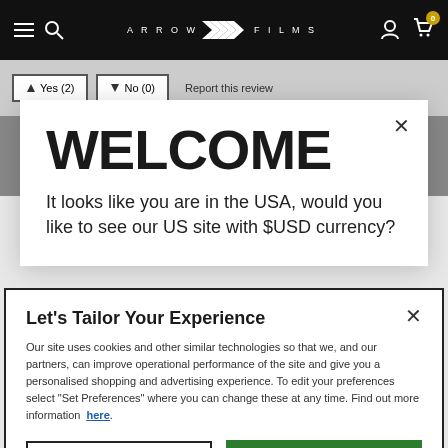Arrow Films navigation bar with hamburger menu, search icon, logo, user icon, and cart icon with badge 0
Yes (2)  No (0)  Report this review
WELCOME
It looks like you are in the USA, would you like to see our US site with $USD currency?
Let's Tailor Your Experience
Our site uses cookies and other similar technologies so that we, and our partners, can improve operational performance of the site and give you a personalised shopping and advertising experience. To edit your preferences select "Set Preferences" where you can change these at any time. Find out more information here.
Set Preferences   That's OK